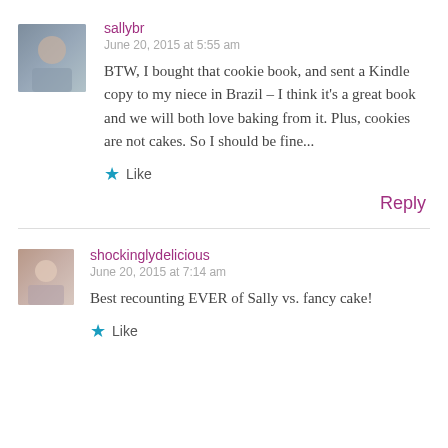sallybr
June 20, 2015 at 5:55 am
BTW, I bought that cookie book, and sent a Kindle copy to my niece in Brazil – I think it's a great book and we will both love baking from it. Plus, cookies are not cakes. So I should be fine...
Like
Reply
shockinglydelicious
June 20, 2015 at 7:14 am
Best recounting EVER of Sally vs. fancy cake!
Like